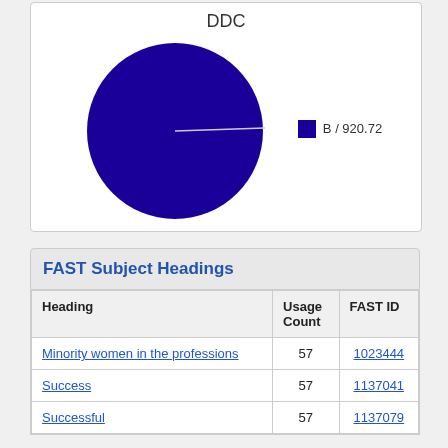[Figure (pie-chart): DDC]
FAST Subject Headings
| Heading | Usage Count | FAST ID |
| --- | --- | --- |
| Minority women in the professions | 57 | 1023444 |
| Success | 57 | 1137041 |
| Successful | 57 | 1137079 |